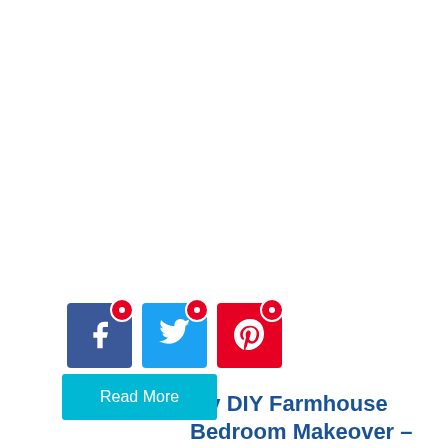[Figure (infographic): Three social media share buttons: Facebook (blue), Twitter (light blue), Pinterest (red), each with a red notification badge showing a white circle]
My DIY Farmhouse Bedroom Makeover – Upcycling Old Furniture with Chalk Paint
My DIY Farmhouse Bedroom Makeover - Upcycling Old Furniture with Chalk Paint Last year during quarantine, I was bored and ...
Read More